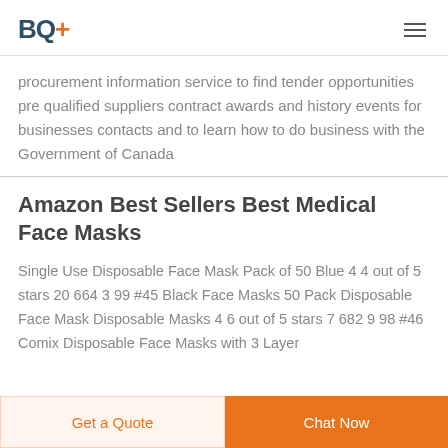BQ+
procurement information service to find tender opportunities pre qualified suppliers contract awards and history events for businesses contacts and to learn how to do business with the Government of Canada
Amazon Best Sellers Best Medical Face Masks
Single Use Disposable Face Mask Pack of 50 Blue 4 4 out of 5 stars 20 664 3 99 #45 Black Face Masks 50 Pack Disposable Face Mask Disposable Masks 4 6 out of 5 stars 7 682 9 98 #46 Comix Disposable Face Masks with 3 Layer
Get a Quote
Chat Now